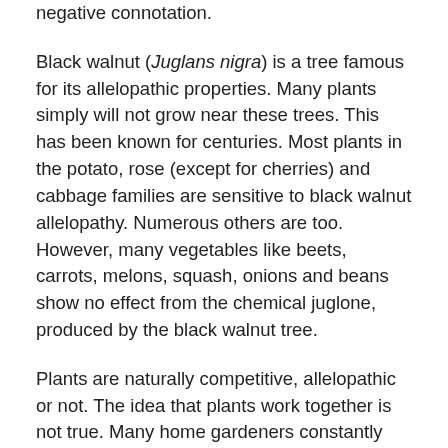negative connotation.
Black walnut (Juglans nigra) is a tree famous for its allelopathic properties. Many plants simply will not grow near these trees. This has been known for centuries. Most plants in the potato, rose (except for cherries) and cabbage families are sensitive to black walnut allelopathy. Numerous others are too. However, many vegetables like beets, carrots, melons, squash, onions and beans show no effect from the chemical juglone, produced by the black walnut tree.
Plants are naturally competitive, allelopathic or not. The idea that plants work together is not true. Many home gardeners constantly search for a way to make their tomatoes grow better. They read articles that tell them which plants to plant near tomatoes and which ones to avoid.